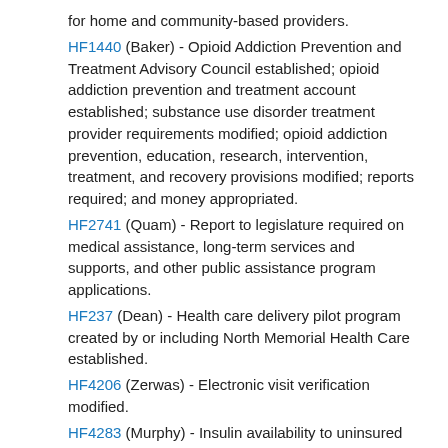for home and community-based providers.
HF1440 (Baker) - Opioid Addiction Prevention and Treatment Advisory Council established; opioid addiction prevention and treatment account established; substance use disorder treatment provider requirements modified; opioid addiction prevention, education, research, intervention, treatment, and recovery provisions modified; reports required; and money appropriated.
HF2741 (Quam) - Report to legislature required on medical assistance, long-term services and supports, and other public assistance program applications.
HF237 (Dean) - Health care delivery pilot program created by or including North Memorial Health Care established.
HF4206 (Zerwas) - Electronic visit verification modified.
HF4283 (Murphy) - Insulin availability to uninsured individuals through volume purchase required, and money appropriated.
HF490 (Lien) - Moorhead; nursing facility operating payment rate modified.
HF1974 (Albright) - Mental health and substance use disorder work group established, and report required.
Documents: